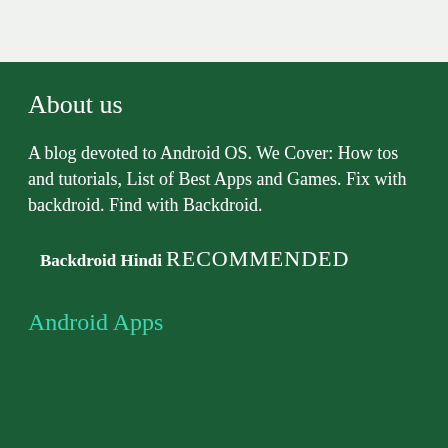About us
A blog devoted to Android OS. We Cover: How tos and tutorials, List of Best Apps and Games. Fix with backdroid. Find with Backdroid.
Backdroid Hindi
RECOMMENDED
Android Apps